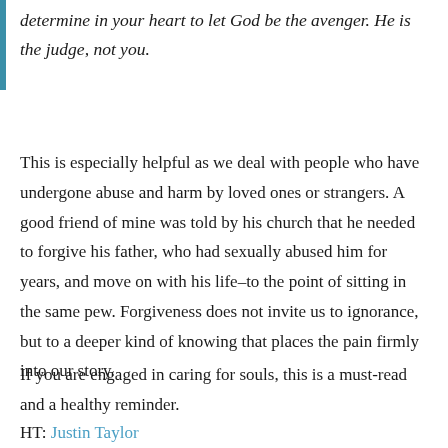determine in your heart to let God be the avenger. He is the judge, not you.
This is especially helpful as we deal with people who have undergone abuse and harm by loved ones or strangers. A good friend of mine was told by his church that he needed to forgive his father, who had sexually abused him for years, and move on with his life–to the point of sitting in the same pew. Forgiveness does not invite us to ignorance, but to a deeper kind of knowing that places the pain firmly into our story.
If you are engaged in caring for souls, this is a must-read and a healthy reminder.
HT: Justin Taylor